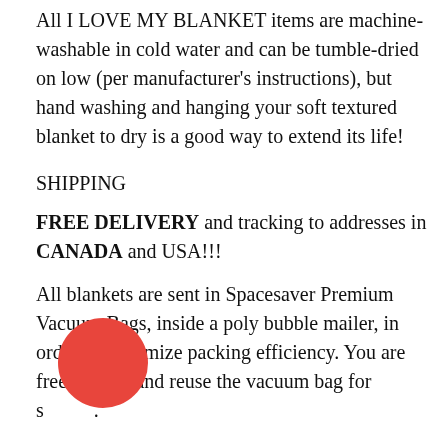All I LOVE MY BLANKET items are machine-washable in cold water and can be tumble-dried on low (per manufacturer's instructions), but hand washing and hanging your soft textured blanket to dry is a good way to extend its life!
SHIPPING
FREE DELIVERY and tracking to addresses in CANADA and USA!!!
All blankets are sent in Spacesaver Premium Vacuum Bags, inside a poly bubble mailer, in order to maximize packing efficiency. You are free to keep and reuse the vacuum bag for storage.
[Figure (logo): Red circular icon with a small rainbow emoji in the center]
When you receive your soft textured blanket, it will be compressed and compacted from being packaged. Don't panic! Chenille yarn compresses and recovers well. A quick